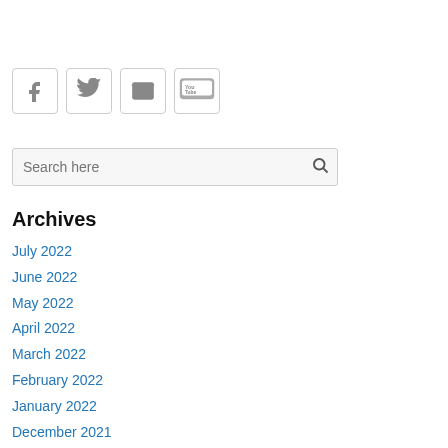[Figure (other): Social media icons: Facebook, Twitter, Email, YouTube — each in a rounded square border]
Search here
Archives
July 2022
June 2022
May 2022
April 2022
March 2022
February 2022
January 2022
December 2021
November 2021
October 2021